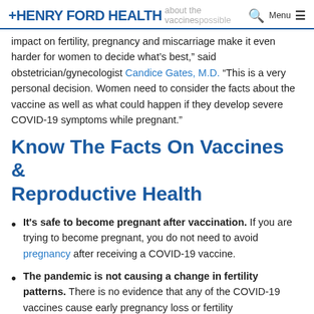HENRY FORD HEALTH about the vaccines possible
impact on fertility, pregnancy and miscarriage make it even harder for women to decide what’s best,” said obstetrician/gynecologist Candice Gates, M.D. “This is a very personal decision. Women need to consider the facts about the vaccine as well as what could happen if they develop severe COVID-19 symptoms while pregnant.”
Know The Facts On Vaccines & Reproductive Health
It’s safe to become pregnant after vaccination. If you are trying to become pregnant, you do not need to avoid pregnancy after receiving a COVID-19 vaccine.
The pandemic is not causing a change in fertility patterns. There is no evidence that any of the COVID-19 vaccines cause early pregnancy loss or fertility